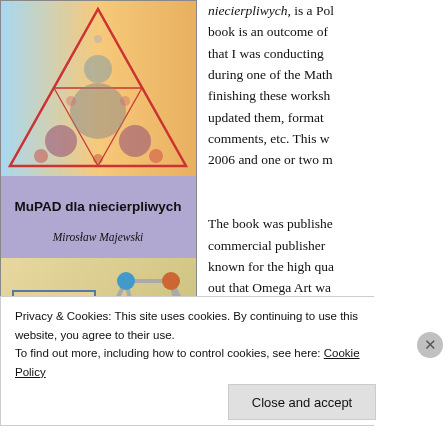[Figure (illustration): Book cover of 'MuPAD dla niecierpliwych' by Mirosław Majewski, showing a fractal triangle on top and a molecular/crystal 3D structure on the bottom, with 'Biblioteka Nauczyciela Matematyki' badge, published by what appears to be a Polish mathematics series.]
niecierpliwych, is a Pol... book is an outcome of... that I was conducting... during one of the Math... finishing these worksh... updated them, format... comments, etc. This w... 2006 and one or two m...
The book was publishe... commercial publisher... known for the high qua... out that Omega Art wa...
Privacy & Cookies: This site uses cookies. By continuing to use this website, you agree to their use.
To find out more, including how to control cookies, see here: Cookie Policy
Close and accept